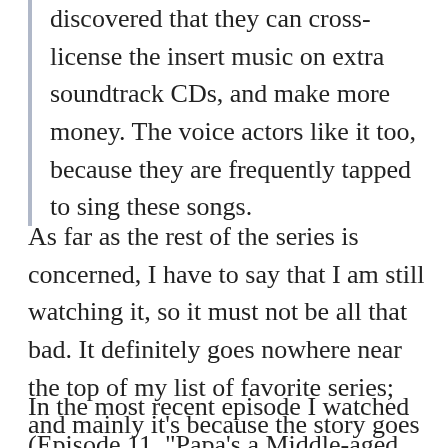discovered that they can cross-license the insert music on extra soundtrack CDs, and make more money. The voice actors like it too, because they are frequently tapped to sing these songs.
As far as the rest of the series is concerned, I have to say that I am still watching it, so it must not be all that bad. It definitely goes nowhere near the top of my list of favorite series; and mainly it's because the story goes for the cheap laughs and doesn't care over-much about logic unless it helps the story.
In the most recent episode I watched (Episode 11, "Papa's a Middle-aged Biker!") Yuu's mother and father have a